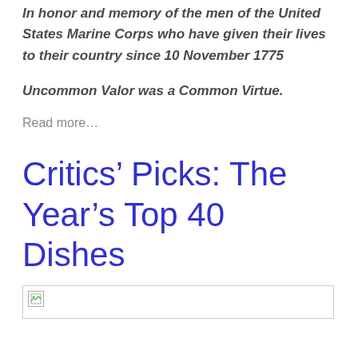In honor and memory of the men of the United States Marine Corps who have given their lives to their country since 10 November 1775
Uncommon Valor was a Common Virtue.
Read more…
Critics’ Picks: The Year’s Top 40 Dishes
[Figure (other): Broken image placeholder]